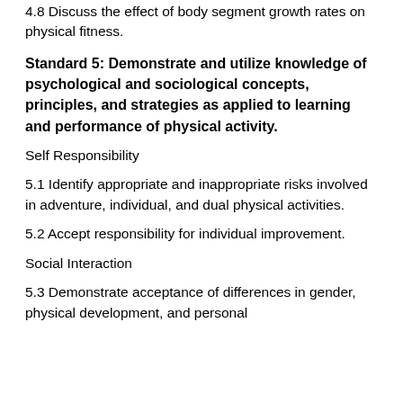4.8 Discuss the effect of body segment growth rates on physical fitness.
Standard 5: Demonstrate and utilize knowledge of psychological and sociological concepts, principles, and strategies as applied to learning and performance of physical activity.
Self Responsibility
5.1 Identify appropriate and inappropriate risks involved in adventure, individual, and dual physical activities.
5.2 Accept responsibility for individual improvement.
Social Interaction
5.3 Demonstrate acceptance of differences in gender, physical development, and personal